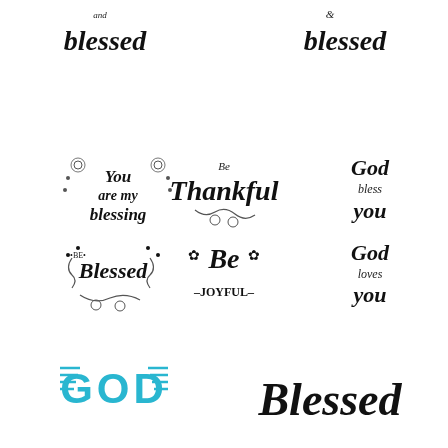[Figure (illustration): Collection of decorative calligraphic and lettering designs with religious/inspirational phrases: 'and blessed', '& blessed', 'You are my blessing', 'Be Thankful', 'God bless you', 'Be Blessed', 'Be Joyful', 'God loves you', 'GOD' in teal/blue block letters, and 'Blessed' script at bottom right.]